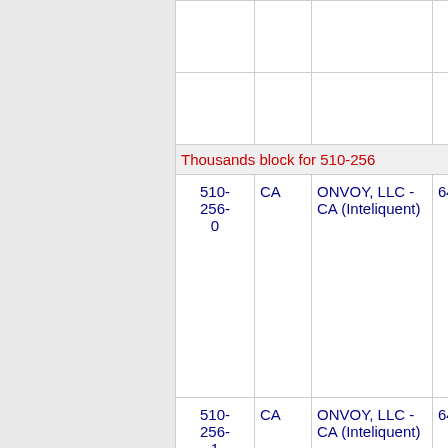| NPA NXX | State | Company | OCN |
| --- | --- | --- | --- |
| Thousands block for 510-256 |  |  |  |
| 510-256-0 | CA | ONVOY, LLC - CA (Inteliquent) | 649C |
| 510-256-1 | CA | ONVOY, LLC - CA (Inteliquent) | 649C |